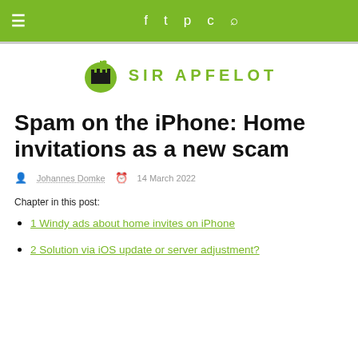≡  f  𝕥  𝕡  𝕘  ⌂
[Figure (logo): Sir Apfelot logo: green apple with castle silhouette icon and text SIR APFELOT in green]
Spam on the iPhone: Home invitations as a new scam
Johannes Domke  14 March 2022
Chapter in this post:
1 Windy ads about home invites on iPhone
2 Solution via iOS update or server adjustment?